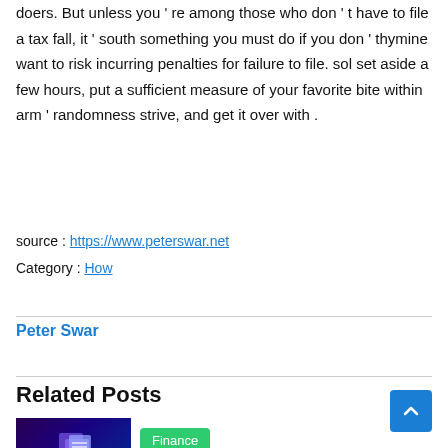doers. But unless you ' re among those who don ' t have to file a tax fall, it ' south something you must do if you don ' thymine want to risk incurring penalties for failure to file. sol set aside a few hours, put a sufficient measure of your favorite bite within arm ' randomness strive, and get it over with .
source : https://www.peterswar.net
Category : How
Peter Swar
Related Posts
[Figure (photo): Thumbnail image with dark purple/blue gradient background and a floating document icon]
Finance